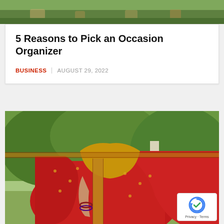[Figure (photo): Top portion of a photo showing people on grass, partially cropped at top of page]
5 Reasons to Pick an Occasion Organizer
BUSINESS  AUGUST 29, 2022
[Figure (photo): A woman wearing a red embroidered saree with yellow blouse, posing outdoors with green trees and a building in background. A reCAPTCHA privacy badge is visible in bottom right corner.]